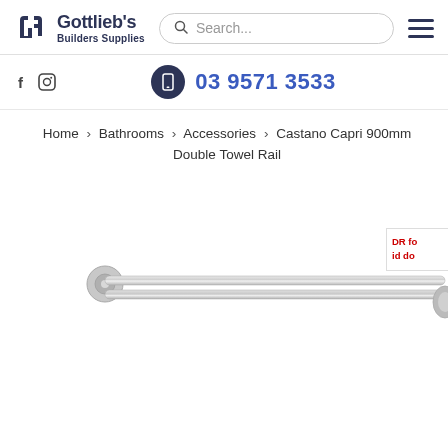Gottlieb's Builders Supplies — Search bar — Navigation menu
f  [instagram icon]  03 9571 3533
Home > Bathrooms > Accessories > Castano Capri 900mm Double Towel Rail
[Figure (photo): Product photo of a chrome double towel rail (Castano Capri 900mm), showing two parallel horizontal chrome bars extending to the right, with a circular wall mount bracket visible on the left end.]